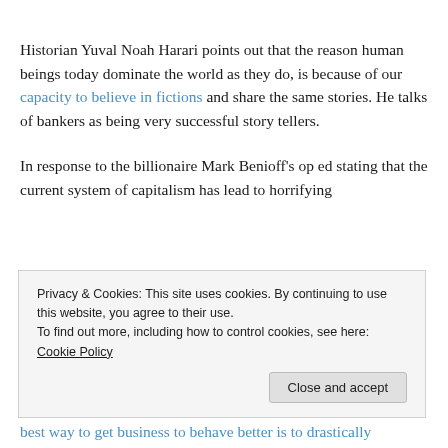Historian Yuval Noah Harari points out that the reason human beings today dominate the world as they do, is because of our capacity to believe in fictions and share the same stories. He talks of bankers as being very successful story tellers.
In response to the billionaire Mark Benioff's op ed stating that the current system of capitalism has lead to horrifying inequalities, Amal Clooney argues the of "Mission: Take...
best way to get business to behave better is to drastically